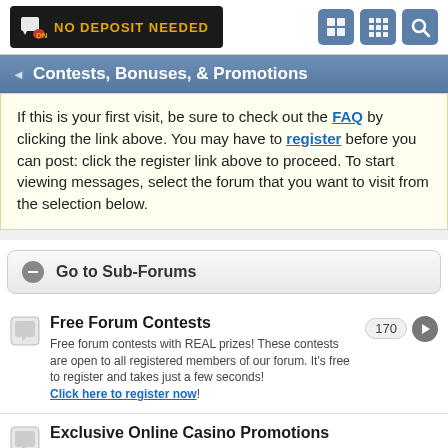NO DEPOSIT NEEDED
Contests, Bonuses, & Promotions
If this is your first visit, be sure to check out the FAQ by clicking the link above. You may have to register before you can post: click the register link above to proceed. To start viewing messages, select the forum that you want to visit from the selection below.
Go to Sub-Forums
Free Forum Contests
Free forum contests with REAL prizes! These contests are open to all registered members of our forum. It's free to register and takes just a few seconds! Click here to register now!
Exclusive Online Casino Promotions